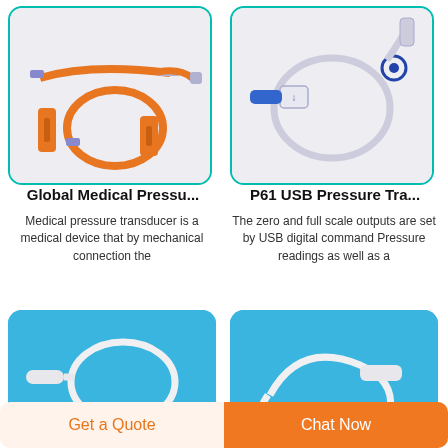[Figure (photo): Orange medical pressure transducer tubing set with multiple connectors on light gray background]
[Figure (photo): Clear/transparent medical pressure transducer set with blue connectors on light gray background]
Global Medical Pressu...
Medical pressure transducer is a medical device that by mechanical connection the
P61 USB Pressure Tra...
The zero and full scale outputs are set by USB digital command Pressure readings as well as a
[Figure (photo): White medical tubing/catheter set on bright blue background]
[Figure (photo): White medical tubing set with connector on bright blue background]
Get a Quote
Chat Now